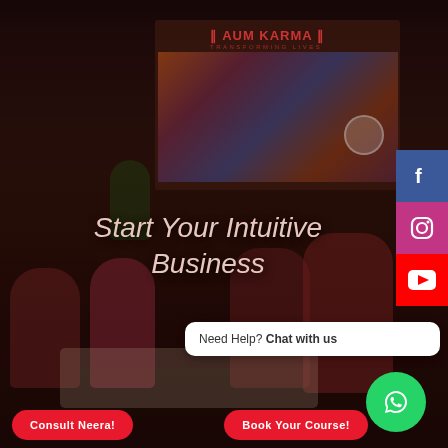[Figure (photo): Background photo of a group of people sitting around a table in a room with an 'AUM KARMA - TRANSFORMING LIVES' banner on the wall, colorful posters in background. Scene is dimly lit with warm reddish tones. Dark overlay applied.]
Start Your Intuitive Business
Need Help? Chat with us
Consult Neera!
Book Your Course!